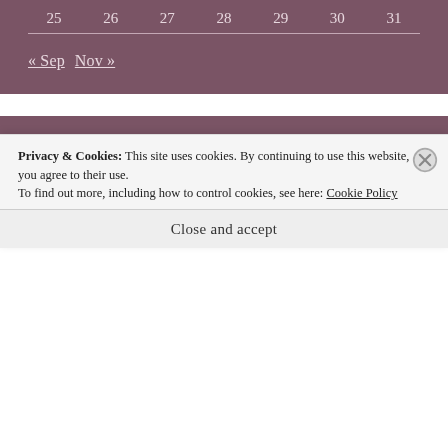| 25 | 26 | 27 | 28 | 29 | 30 | 31 |
| --- | --- | --- | --- | --- | --- | --- |
« Sep   Nov »
Categories
Agility Trial Courses
Anime Essays
Privacy & Cookies: This site uses cookies. By continuing to use this website, you agree to their use.
To find out more, including how to control cookies, see here: Cookie Policy
Close and accept